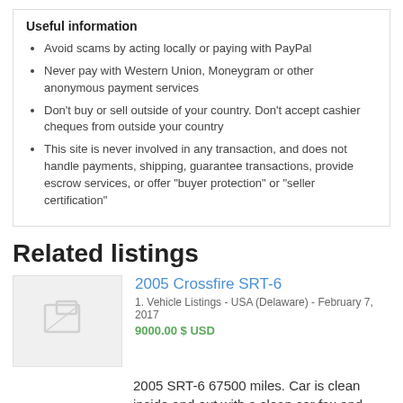Useful information
Avoid scams by acting locally or paying with PayPal
Never pay with Western Union, Moneygram or other anonymous payment services
Don't buy or sell outside of your country. Don't accept cashier cheques from outside your country
This site is never involved in any transaction, and does not handle payments, shipping, guarantee transactions, provide escrow services, or offer "buyer protection" or "seller certification"
Related listings
2005 Crossfire SRT-6
1. Vehicle Listings - USA (Delaware) - February 7, 2017
9000.00 $ USD
2005 SRT-6 67500 miles. Car is clean inside and out with a clean car fax and only two owners.